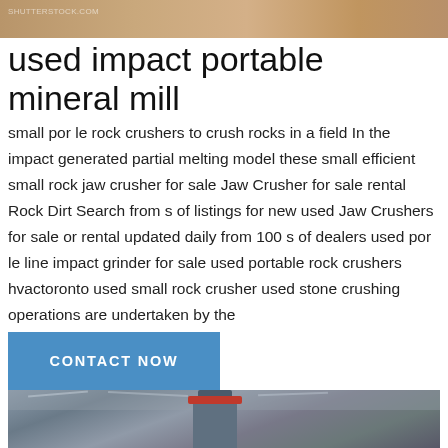[Figure (photo): Top banner photo showing sandy/earthy ground texture with brownish tones and faint watermark text overlay]
used impact portable mineral mill
small por le rock crushers to crush rocks in a field In the impact generated partial melting model these small efficient small rock jaw crusher for sale Jaw Crusher for sale rental Rock Dirt Search from s of listings for new used Jaw Crushers for sale or rental updated daily from 100 s of dealers used por le line impact grinder for sale used portable rock crushers hvactoronto used small rock crusher used stone crushing operations are undertaken by the
[Figure (other): Blue 'CONTACT NOW' button]
[Figure (photo): Interior industrial photo showing a large cylindrical mill machine (blue/grey) with a red ring/collar near the top, inside a building with steel roof trusses and ceiling lights]